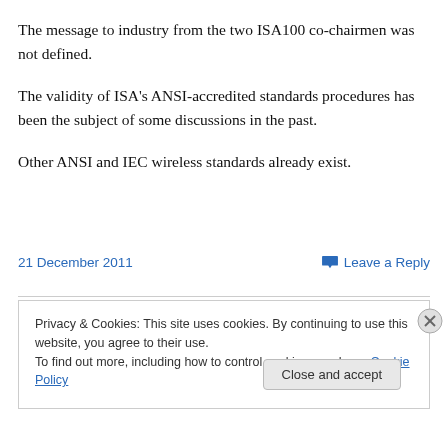The message to industry from the two ISA100 co-chairmen was not defined.
The validity of ISA's ANSI-accredited standards procedures has been the subject of some discussions in the past.
Other ANSI and IEC wireless standards already exist.
21 December 2011    💬 Leave a Reply
Privacy & Cookies: This site uses cookies. By continuing to use this website, you agree to their use.
To find out more, including how to control cookies, see here: Cookie Policy